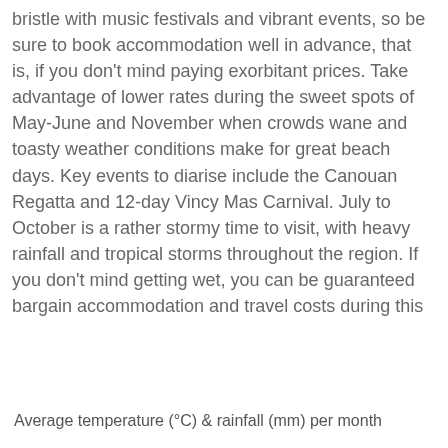bristle with music festivals and vibrant events, so be sure to book accommodation well in advance, that is, if you don't mind paying exorbitant prices. Take advantage of lower rates during the sweet spots of May-June and November when crowds wane and toasty weather conditions make for great beach days. Key events to diarise include the Canouan Regatta and 12-day Vincy Mas Carnival. July to October is a rather stormy time to visit, with heavy rainfall and tropical storms throughout the region. If you don't mind getting wet, you can be guaranteed bargain accommodation and travel costs during this
[Figure (screenshot): Cookie consent popup overlay with message, a link to Cookie and Privacy Policy, and two buttons: Dismiss and Got it!]
Weather in Saint Vincent and the Grenadines
Average temperature (°C) & rainfall (mm) per month